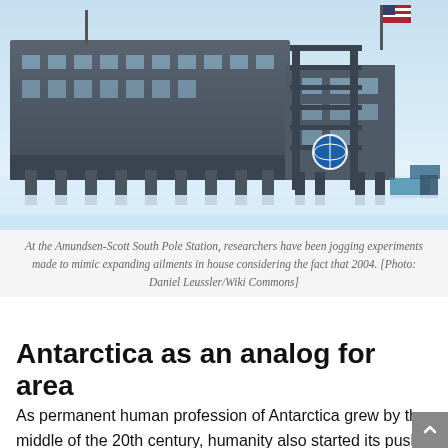[Figure (photo): Amundsen-Scott South Pole Station building elevated on stilts in a snowy landscape, with an American flag flying and a blue sky background. The building is a large modern structure with dark grey/blue exterior.]
At the Amundsen-Scott South Pole Station, researchers have been jogging experiments made to mimic expanding ailments in house considering the fact that 2004. [Photo: Daniel Leussler/Wiki Commons]
Antarctica as an analog for area
As permanent human profession of Antarctica grew by the middle of the 20th century, humanity also started its push into